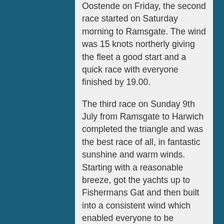Oostende on Friday, the second race started on Saturday morning to Ramsgate. The wind was 15 knots northerly giving the fleet a good start and a quick race with everyone finished by 19.00.
The third race on Sunday 9th July from Ramsgate to Harwich completed the triangle and was the best race of all, in fantastic sunshine and warm winds. Starting with a reasonable breeze, got the yachts up to Fishermans Gat and then built into a consistent wind which enabled everyone to be finished by 1730.
Prize giving was held at the Haven Ports Yacht Club before the crews headed for home.
The overall winners were
1st ApeX, Robert Leggett.
2nd  Eclipse, Des Cowan